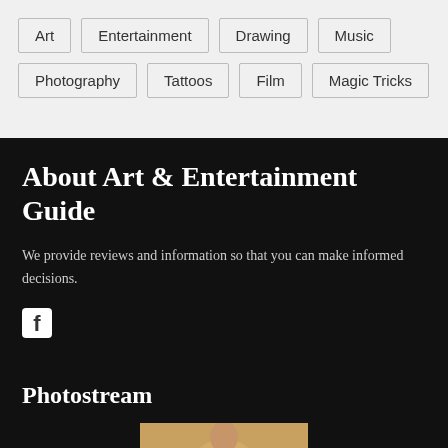Art
Entertainment
Drawing
Music
Photography
Tattoos
Film
Magic Tricks
About Art & Entertainment Guide
We provide reviews and information so that you can make informed decisions.
Photostream
[Figure (photo): Person playing guitar, partial view]